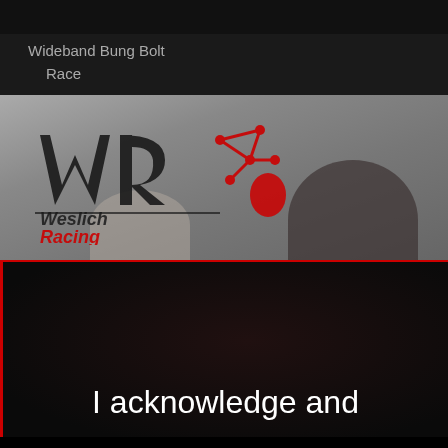Wideband Bung Bolt Race
[Figure (photo): Weslich Racing logo banner over a dark background showing wideband bung bolt hardware/parts]
I acknowledge and